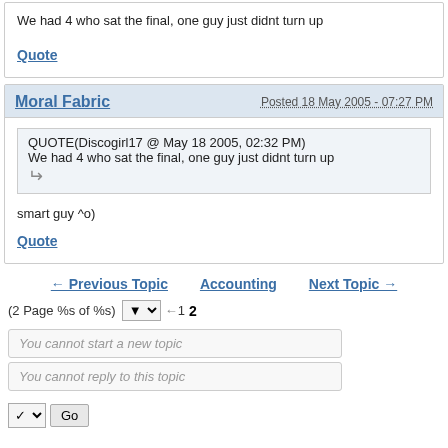We had 4 who sat the final, one guy just didnt turn up
Quote
Moral Fabric — Posted 18 May 2005 - 07:27 PM
QUOTE(Discogirl17 @ May 18 2005, 02:32 PM)
We had 4 who sat the final, one guy just didnt turn up
smart guy ^o)
Quote
← Previous Topic   Accounting   Next Topic →
(2 Page %s of %s)  ← 1 2
You cannot start a new topic
You cannot reply to this topic